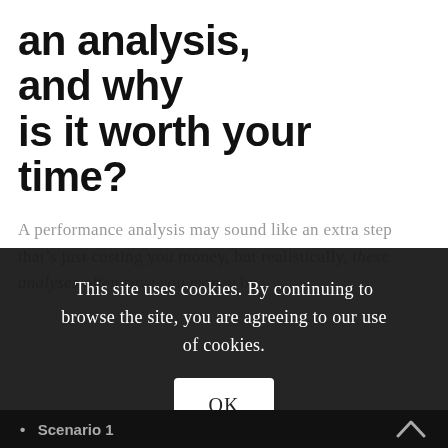an analysis, and why is it worth your time?
A performance analysis may sound like an extra step that’s just costing you money, but realistically, these analyses often save you money by
This site uses cookies. By continuing to browse the site, you are agreeing to our use of cookies.
OK
Scenario 1